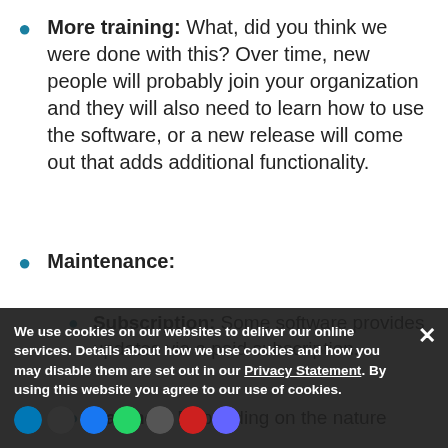More training: What, did you think we were done with this? Over time, new people will probably join your organization and they will also need to learn how to use the software, or a new release will come out that adds additional functionality.
Maintenance:
Subscription: Some software provides updates via a paid subscription.
Patches: Depending on the nature...
We use cookies on our websites to deliver our online services. Details about how we use cookies and how you may disable them are set out in our Privacy Statement. By using this website you agree to our use of cookies.